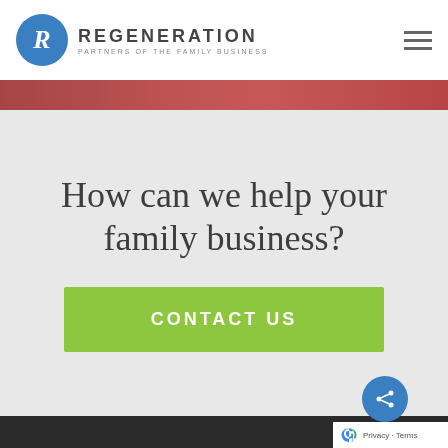REGENERATION PARTNERS OF THE FAMILY BUSINESS
[Figure (photo): Partial red/dark photo strip visible at top of content area]
How can we help your family business?
CONTACT US